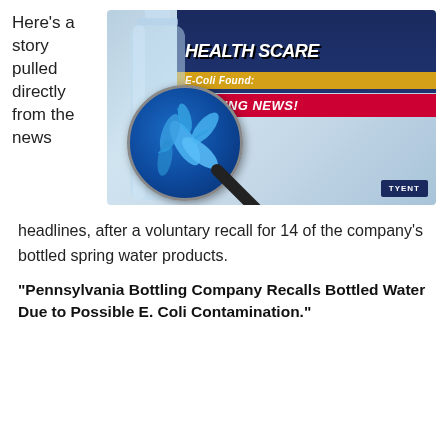Here's a story pulled directly from the news
[Figure (infographic): Bottled water health scare infographic showing a water bottle, a magnifying glass revealing E. Coli bacteria, with text 'HEALTH SCARE', 'E-Coli Found:', and 'BREAKING NEWS!' on a blue/navy background. Tyent logo in bottom right.]
headlines, after a voluntary recall for 14 of the company's bottled spring water products.
"Pennsylvania Bottling Company Recalls Bottled Water Due to Possible E. Coli Contamination."